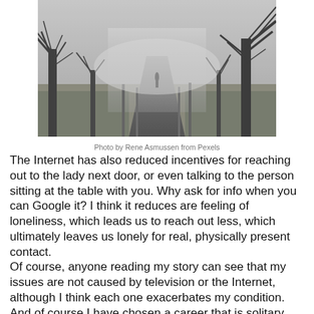[Figure (photo): A lone figure walking down a foggy tree-lined road in winter, black and white tones, bare trees on both sides receding into mist]
Photo by Rene Asmussen from Pexels
The Internet has also reduced incentives for reaching out to the lady next door, or even talking to the person sitting at the table with you. Why ask for info when you can Google it? I think it reduces are feeling of loneliness, which leads us to reach out less, which ultimately leaves us lonely for real, physically present contact.
Of course, anyone reading my story can see that my issues are not caused by television or the Internet, although I think each one exacerbates my condition. And of course I have chosen a career that is solitary and focused for big chunks of time.
However, I have a bit…to start building on...